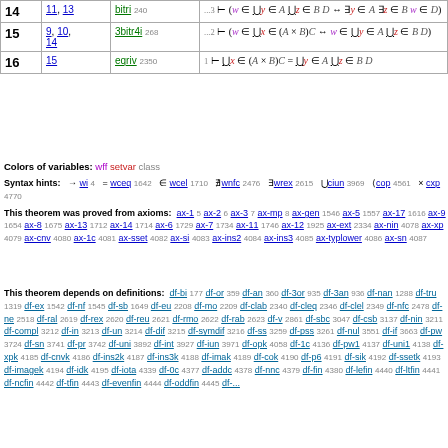| Step | Hyp | Ref | Expression |
| --- | --- | --- | --- |
| 14 | 11, 13 | bitri 240 | ...3 ⊢ (w ∈ ⋃y ∈ A ⋃z ∈ B D ↔ ∃y ∈ A ∃z ∈ B w ∈ D) |
| 15 | 9, 10, 14 | 3bitr4i 268 | ...2 ⊢ (w ∈ ⋃x ∈ (A × B)C ↔ w ∈ ⋃y ∈ A ⋃z ∈ B D) |
| 16 | 15 | eqriv 2350 | 1 ⊢ ⋃x ∈ (A × B)C = ⋃y ∈ A ⋃z ∈ B D |
Colors of variables: wff setvar class
Syntax hints: → wi 4 = wceq 1642 ∈ wcel 1710 ∄wnfc 2476 ∃wrex 2615 ⋃ciun 3969 ⟨cop 4561 × cxp 4770
This theorem was proved from axioms: ax-1 5 ax-2 6 ax-3 7 ax-mp 8 ax-gen 1546 ax-5 1557 ax-17 1616 ax-9 1654 ax-8 1675 ax-13 1712 ax-14 1714 ax-6 1729 ax-7 1734 ax-11 1746 ax-12 1925 ax-ext 2334 ax-nin 4078 ax-xp 4079 ax-cnv 4080 ax-1c 4081 ax-sset 4082 ax-si 4083 ax-ins2 4084 ax-ins3 4085 ax-typlower 4086 ax-sn 4087
This theorem depends on definitions: df-bi 177 df-or 359 df-an 360 df-3or 935 df-3an 936 df-nan 1288 df-tru 1319 df-ex 1542 df-nf 1545 df-sb 1649 df-eu 2208 df-mo 2209 df-clab 2340 df-cleq 2346 df-clel 2349 df-nfc 2478 df-ne 2518 df-ral 2619 df-rex 2620 df-reu 2621 df-rmo 2622 df-rab 2623 df-v 2861 df-sbc 3047 df-csb 3137 df-nin 3211 df-compl 3212 df-in 3213 df-un 3214 df-dif 3215 df-symdif 3216 df-ss 3259 df-pss 3261 df-nul 3551 df-if 3663 df-pw 3724 df-sn 3741 df-pr 3742 df-uni 3892 df-int 3927 df-iun 3971 df-opk 4058 df-1c 4136 df-pw1 4137 df-uni1 4138 df-xpk 4185 df-cnvk 4186 df-ins2k 4187 df-ins3k 4188 df-imak 4189 df-cok 4190 df-p6 4191 df-sik 4192 df-ssetk 4193 df-imagek 4194 df-idk 4195 df-iota 4339 df-0c 4377 df-addc 4378 df-nnc 4379 df-fin 4380 df-lefin 4440 df-ltfin 4441 df-ncfin 4442 df-tfin 4443 df-evenfin 4444 df-oddfin 4445